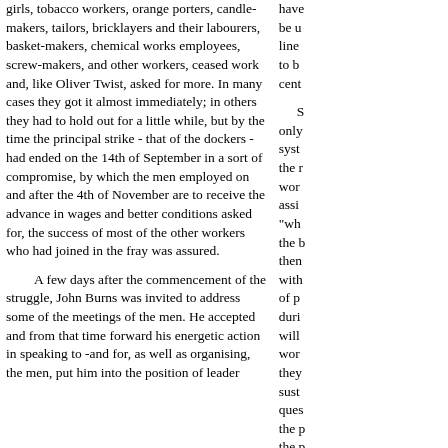girls, tobacco workers, orange porters, candle-makers, tailors, bricklayers and their labourers, basket-makers, chemical works employees, screw-makers, and other workers, ceased work and, like Oliver Twist, asked for more. In many cases they got it almost immediately; in others they had to hold out for a little while, but by the time the principal strike - that of the dockers - had ended on the 14th of September in a sort of compromise, by which the men employed on and after the 4th of November are to receive the advance in wages and better conditions asked for, the success of most of the other workers who had joined in the fray was assured.
A few days after the commencement of the struggle, John Burns was invited to address some of the meetings of the men. He accepted and from that time forward his energetic action in speaking to -and for, as well as organising, the men, put him into the position of leader
have be u line to b cent
S only syst the r wor assi "wh the b then with of p duri will wor they sust ques the p the p